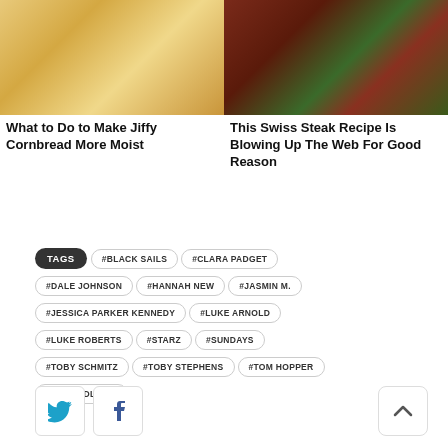[Figure (photo): Close-up photo of cornbread, golden yellow texture]
[Figure (photo): Close-up photo of Swiss steak with herbs and tomato sauce]
What to Do to Make Jiffy Cornbread More Moist
This Swiss Steak Recipe Is Blowing Up The Web For Good Reason
TAGS #BLACK SAILS #CLARA PADGET #DALE JOHNSON #HANNAH NEW #JASMIN M. #JESSICA PARKER KENNEDY #LUKE ARNOLD #LUKE ROBERTS #STARZ #SUNDAYS #TOBY SCHMITZ #TOBY STEPHENS #TOM HOPPER #ZETHU DLOMO